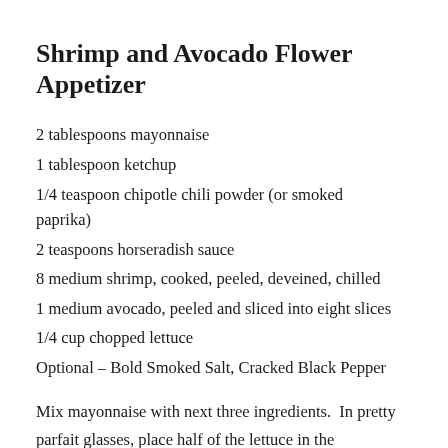Shrimp and Avocado Flower Appetizer
2 tablespoons mayonnaise
1 tablespoon ketchup
1/4 teaspoon chipotle chili powder (or smoked paprika)
2 teaspoons horseradish sauce
8 medium shrimp, cooked, peeled, deveined, chilled
1 medium avocado, peeled and sliced into eight slices
1/4 cup chopped lettuce
Optional – Bold Smoked Salt, Cracked Black Pepper
Mix mayonnaise with next three ingredients.  In pretty parfait glasses, place half of the lettuce in the